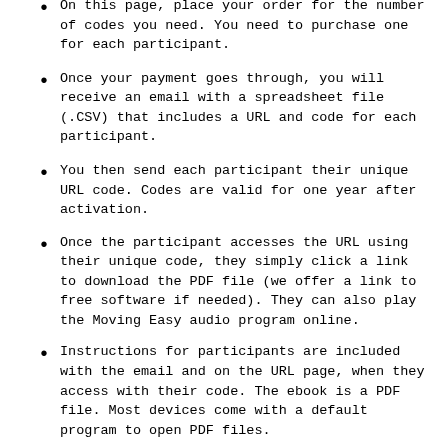On this page, place your order for the number of codes you need. You need to purchase one for each participant.
Once your payment goes through, you will receive an email with a spreadsheet file (.CSV) that includes a URL and code for each participant.
You then send each participant their unique URL code. Codes are valid for one year after activation.
Once the participant accesses the URL using their unique code, they simply click a link to download the PDF file (we offer a link to free software if needed). They can also play the Moving Easy audio program online.
Instructions for participants are included with the email and on the URL page, when they access with their code. The ebook is a PDF file. Most devices come with a default program to open PDF files.